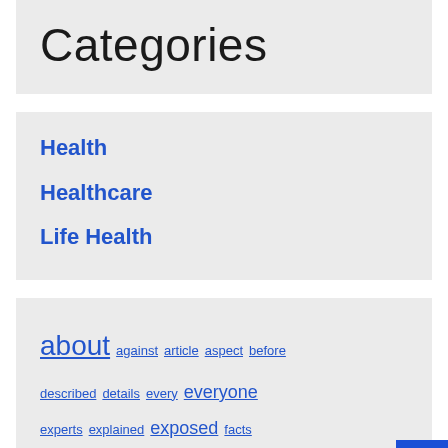Categories
Health
Healthcare
Life Health
about against article aspect before described details every everyone experts explained exposed facts factual fight frankly greatest guide